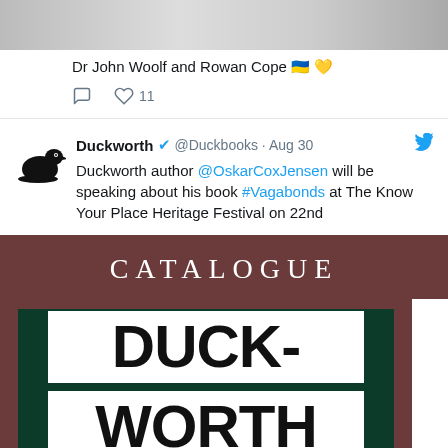[Figure (screenshot): Partial top of a tweet showing a photo of Dr John Woolf and Rowan Cope with Ukrainian flag and yellow heart emoji, followed by comment and like icons with count 11]
Dr John Woolf and Rowan Cope 🇺🇦 💛
11
[Figure (screenshot): Tweet by Duckworth @Duckbooks · Aug 30: Duckworth author @OskarCoxJensen will be speaking about his book #Vagabonds at The Know Your Place Heritage Festival on 22nd]
CATALOGUE
[Figure (logo): Duckworth catalogue cover with dark green background and two white blocks reading DUCK- and WORTH in bold black sans-serif text]